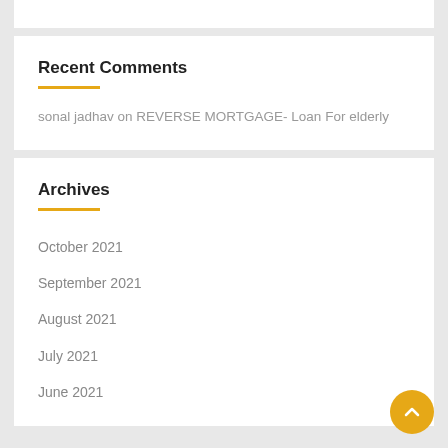Recent Comments
sonal jadhav on REVERSE MORTGAGE- Loan For elderly
Archives
October 2021
September 2021
August 2021
July 2021
June 2021